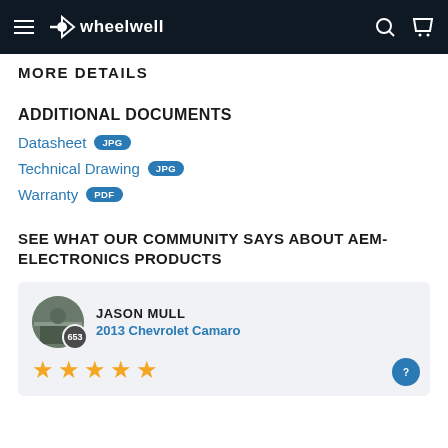wheelwell navigation bar
MORE DETAILS
ADDITIONAL DOCUMENTS
Datasheet JPG
Technical Drawing JPG
Warranty PDF
SEE WHAT OUR COMMUNITY SAYS ABOUT AEM-ELECTRONICS PRODUCTS
JASON MULL
2013 Chevrolet Camaro
★★★★★